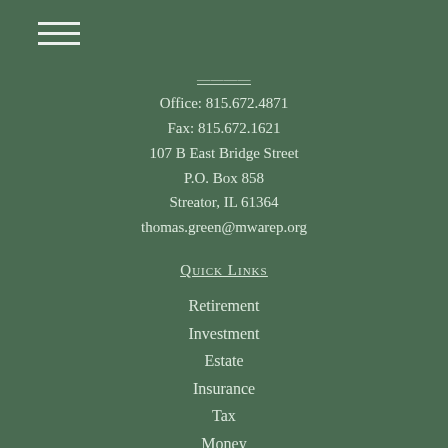[Figure (other): Hamburger menu icon with three horizontal white lines]
Office: 815.672.4871
Fax: 815.672.1621
107 B East Bridge Street
P.O. Box 858
Streator, IL 61364
thomas.green@mwarep.org
Quick Links
Retirement
Investment
Estate
Insurance
Tax
Money
Lifestyle
All Articles
All Videos